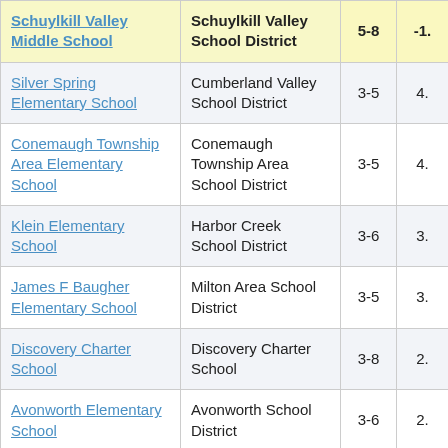| School | District | Grades | Score |
| --- | --- | --- | --- |
| Schuylkill Valley Middle School | Schuylkill Valley School District | 5-8 | -1. |
| Silver Spring Elementary School | Cumberland Valley School District | 3-5 | 4. |
| Conemaugh Township Area Elementary School | Conemaugh Township Area School District | 3-5 | 4. |
| Klein Elementary School | Harbor Creek School District | 3-6 | 3. |
| James F Baugher Elementary School | Milton Area School District | 3-5 | 3. |
| Discovery Charter School | Discovery Charter School | 3-8 | 2. |
| Avonworth Elementary School | Avonworth School District | 3-6 | 2. |
| Sarah W Starkweather | West Chester Area School District | 3-5 | 4 |